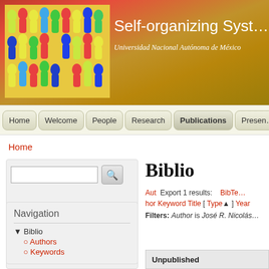[Figure (photo): Colorful illustration of groups of people silhouettes in yellow, red, green, blue colors]
Self-organizing Syst...
Universidad Nacional Autónoma de México
Home | Welcome | People | Research | Publications | Presen...
Home
Biblio
Aut  Export 1 results:   BibTe... hor Keyword Title [ Type▲ ] Year  Filters: Author is José R. Nicolás
Navigation
▼ Biblio
○ Authors
○ Keywords
Unpublished